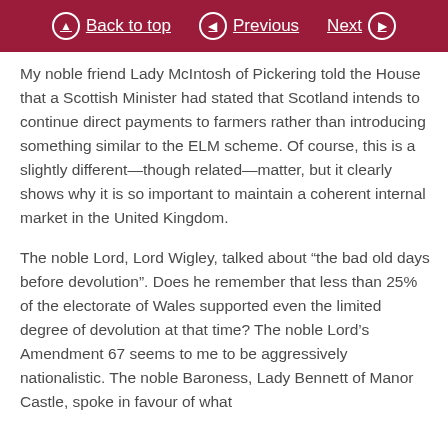Back to top | Previous | Next
My noble friend Lady McIntosh of Pickering told the House that a Scottish Minister had stated that Scotland intends to continue direct payments to farmers rather than introducing something similar to the ELM scheme. Of course, this is a slightly different—though related—matter, but it clearly shows why it is so important to maintain a coherent internal market in the United Kingdom.
The noble Lord, Lord Wigley, talked about “the bad old days before devolution”. Does he remember that less than 25% of the electorate of Wales supported even the limited degree of devolution at that time? The noble Lord’s Amendment 67 seems to me to be aggressively nationalistic. The noble Baroness, Lady Bennett of Manor Castle, spoke in favour of what